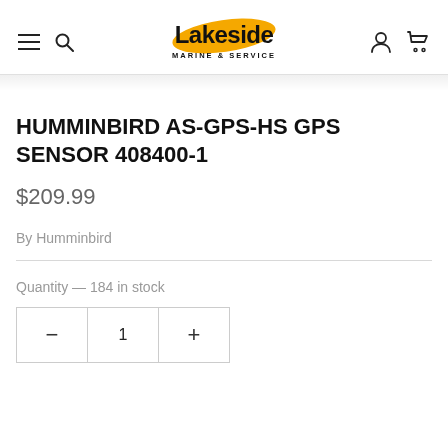Lakeside Marine & Service
HUMMINBIRD AS-GPS-HS GPS SENSOR 408400-1
$209.99
By Humminbird
Quantity — 184 in stock